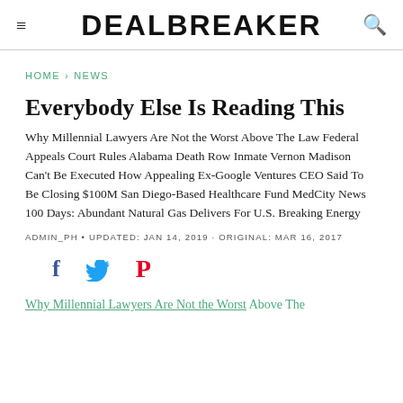DEALBREAKER
HOME › NEWS
Everybody Else Is Reading This
Why Millennial Lawyers Are Not the Worst Above The Law Federal Appeals Court Rules Alabama Death Row Inmate Vernon Madison Can't Be Executed How Appealing Ex-Google Ventures CEO Said To Be Closing $100M San Diego-Based Healthcare Fund MedCity News 100 Days: Abundant Natural Gas Delivers For U.S. Breaking Energy
ADMIN_PH • UPDATED: JAN 14, 2019 · ORIGINAL: MAR 16, 2017
[Figure (infographic): Social share icons: Facebook (f), Twitter (bird), Pinterest (P)]
Why Millennial Lawyers Are Not the Worst Above The